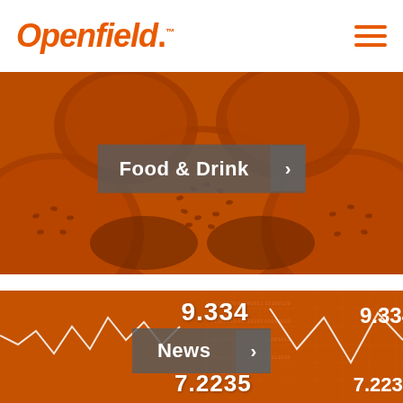Openfield
[Figure (photo): Close-up photo of seeded bread rolls with an orange/brown duotone color treatment, with a 'Food & Drink >' navigation button overlaid in the center]
[Figure (photo): Stock market data display showing line charts and numbers (9.334, 7.2235) with an orange duotone color treatment, with a 'News >' navigation button overlaid in the center]